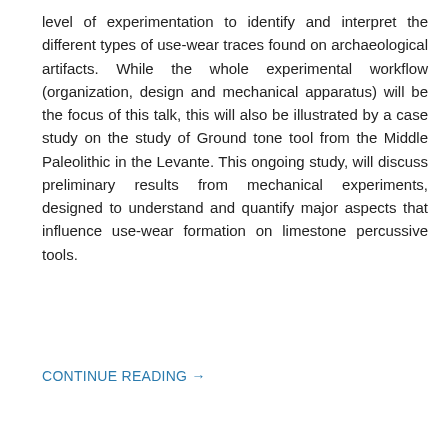level of experimentation to identify and interpret the different types of use-wear traces found on archaeological artifacts. While the whole experimental workflow (organization, design and mechanical apparatus) will be the focus of this talk, this will also be illustrated by a case study on the study of Ground tone tool from the Middle Paleolithic in the Levante. This ongoing study, will discuss preliminary results from mechanical experiments, designed to understand and quantify major aspects that influence use-wear formation on limestone percussive tools.
CONTINUE READING →